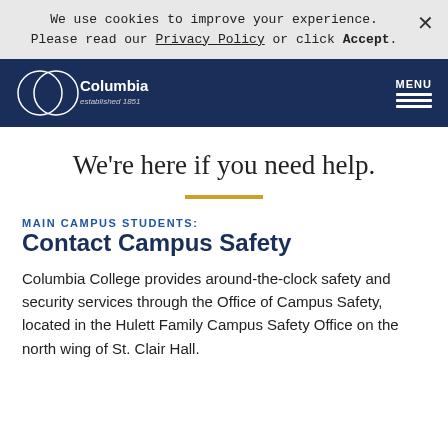We use cookies to improve your experience. Please read our Privacy Policy or click Accept.
[Figure (logo): Columbia College established 1851 logo in white on navy background with navigation menu hamburger icon]
We're here if you need help.
MAIN CAMPUS STUDENTS: Contact Campus Safety
Columbia College provides around-the-clock safety and security services through the Office of Campus Safety, located in the Hulett Family Campus Safety Office on the north wing of St. Clair Hall.